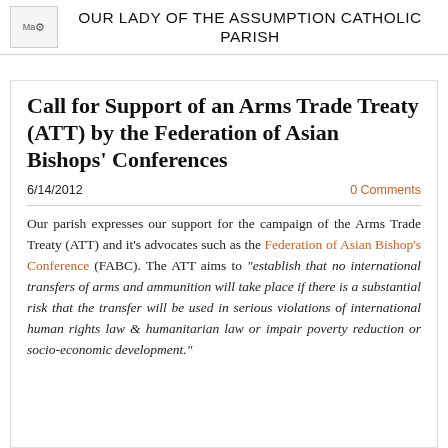OUR LADY OF THE ASSUMPTION CATHOLIC PARISH
Call for Support of an Arms Trade Treaty (ATT) by the Federation of Asian Bishops' Conferences
6/14/2012   0 Comments
Our parish expresses our support for the campaign of the Arms Trade Treaty (ATT) and it's advocates such as the Federation of Asian Bishop's Conference (FABC). The ATT aims to "establish that no international transfers of arms and ammunition will take place if there is a substantial risk that the transfer will be used in serious violations of international human rights law & humanitarian law or impair poverty reduction or socio-economic development."